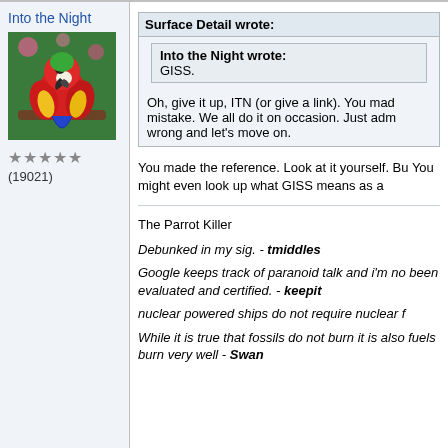Into the Night
[Figure (photo): Avatar photo of a red and yellow scarlet macaw parrot on a branch with pink flowers in the background.]
★★★★★ (19021)
Surface Detail wrote: Into the Night wrote: GISS.
Oh, give it up, ITN (or give a link). You mad mistake. We all do it on occasion. Just adm wrong and let's move on.
You made the reference. Look at it yourself. Bu You might even look up what GISS means as a
The Parrot Killer
Debunked in my sig. - tmiddles
Google keeps track of paranoid talk and i'm no been evaluated and certified. - keepit
nuclear powered ships do not require nuclear f
While it is true that fossils do not burn it is also fuels burn very well - Swan